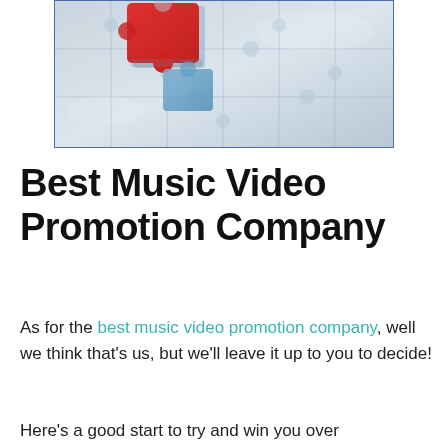[Figure (photo): A jigsaw puzzle with silver/grey pieces and one red piece placed on top, suggesting a missing piece concept. A blue puzzle piece is also partially visible.]
Best Music Video Promotion Company
As for the best music video promotion company, well we think that's us, but we'll leave it up to you to decide!
Here's a good start to try and win you over